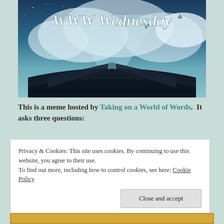[Figure (illustration): Banner image showing an open book with clouds and fantasy sky imagery. Bold white italic text reads 'WWW Wednesday' overlaid on the top portion of the image.]
This is a meme hosted by Taking on a World of Words. It asks three questions:
Privacy & Cookies: This site uses cookies. By continuing to use this website, you agree to their use. To find out more, including how to control cookies, see here: Cookie Policy
Close and accept